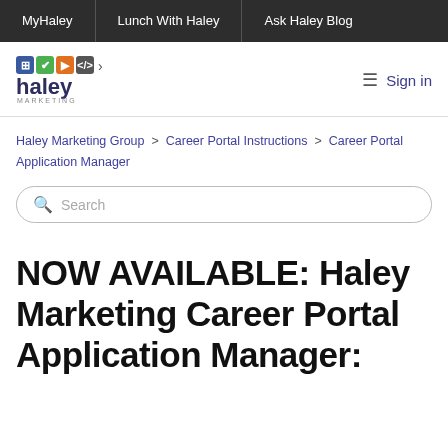MyHaley | Lunch With Haley | Ask Haley Blog
[Figure (logo): Haley Marketing logo with colorful icons and text]
Sign in
Haley Marketing Group > Career Portal Instructions > Career Portal Application Manager
Search
NOW AVAILABLE: Haley Marketing Career Portal Application Manager: Getting Started